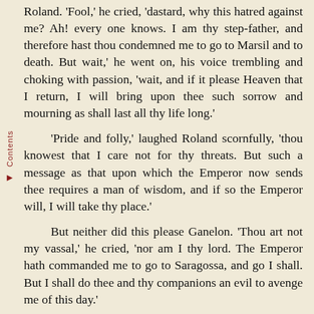Roland. 'Fool,' he cried, 'dastard, why this hatred against me? Ah! every one knows. I am thy step-father, and therefore hast thou condemned me to go to Marsil and to death. But wait,' he went on, his voice trembling and choking with passion, 'wait, and if it please Heaven that I return, I will bring upon thee such sorrow and mourning as shall last all thy life long.'

'Pride and folly,' laughed Roland scornfully, 'thou knowest that I care not for thy threats. But such a message as that upon which the Emperor now sends thee requires a man of wisdom, and if so the Emperor will, I will take thy place.'

But neither did this please Ganelon. 'Thou art not my vassal,' he cried, 'nor am I thy lord. The Emperor hath commanded me to go to Saragossa, and go I shall. But I shall do thee and thy companions an evil to avenge me of this day.'

At that Count Roland laughed aloud in scorn.